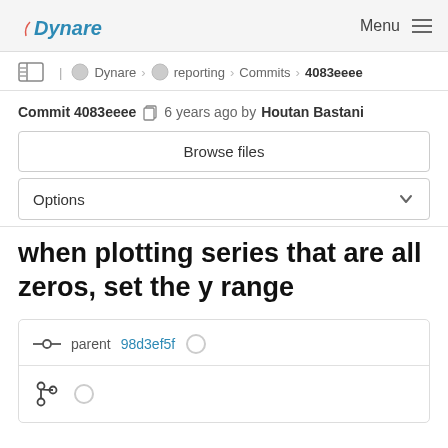Dynare  Menu
Dynare › reporting › Commits › 4083eeee
Commit 4083eeee  6 years ago by Houtan Bastani
Browse files
Options
when plotting series that are all zeros, set the y range
parent 98d3ef5f